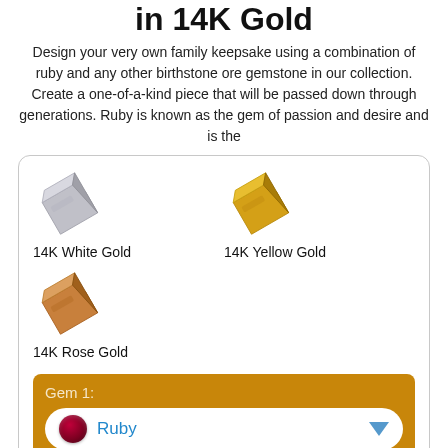in 14K Gold
Design your very own family keepsake using a combination of ruby and any other birthstone ore gemstone in our collection. Create a one-of-a-kind piece that will be passed down through generations. Ruby is known as the gem of passion and desire and is the
[Figure (illustration): Gold type selection card showing three gold ingot icons: 14K White Gold (silver colored ingot), 14K Yellow Gold (gold colored ingot), 14K Rose Gold (rose gold colored ingot), followed by a gem selector showing 'Gem 1: Ruby' dropdown on a brown/tan background.]